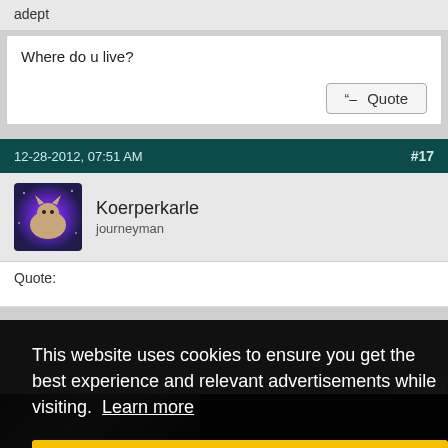adept
Where do u live?
Quote
12-28-2012, 07:51 AM
#17
Koerperkarle
journeyman
Quote:
This website uses cookies to ensure you get the best experience and relevant advertisements while visiting.  Learn more
Got it!